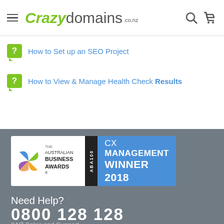Crazy domains .co.nz
How to Set up an SEO Project
How to View & Manage Health Check Results
[Figure (logo): The Australian Business Awards ABA100 CX Management Winner 2018 badge]
Need Help?
0800 128 128
24/7 Sales and Support